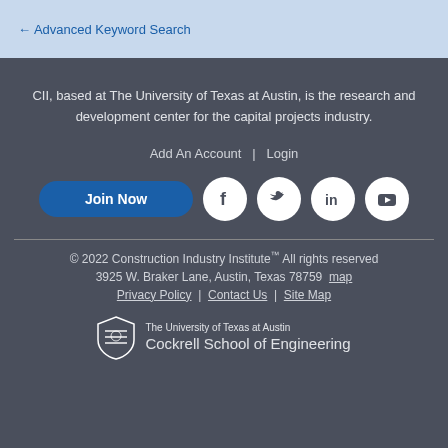Advanced Keyword Search
CII, based at The University of Texas at Austin, is the research and development center for the capital projects industry.
Add An Account  |  Login
[Figure (infographic): Join Now button and social media icons: Facebook, Twitter, LinkedIn, YouTube]
© 2022 Construction Industry Institute™ All rights reserved
3925 W. Braker Lane, Austin, Texas 78759  map
Privacy Policy  |  Contact Us  |  Site Map
[Figure (logo): The University of Texas at Austin Cockrell School of Engineering logo]